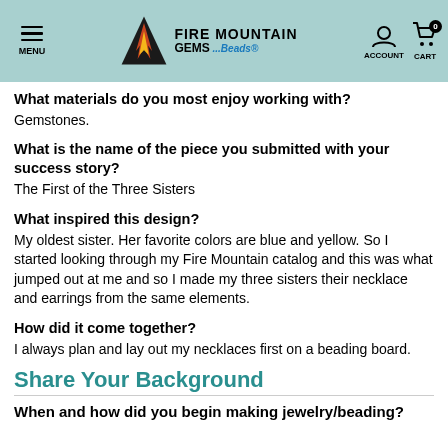MENU | FIRE MOUNTAIN GEMS ...Beads® | ACCOUNT | CART 0
What materials do you most enjoy working with?
Gemstones.
What is the name of the piece you submitted with your success story?
The First of the Three Sisters
What inspired this design?
My oldest sister. Her favorite colors are blue and yellow. So I started looking through my Fire Mountain catalog and this was what jumped out at me and so I made my three sisters their necklace and earrings from the same elements.
How did it come together?
I always plan and lay out my necklaces first on a beading board.
Share Your Background
When and how did you begin making jewelry/beading?